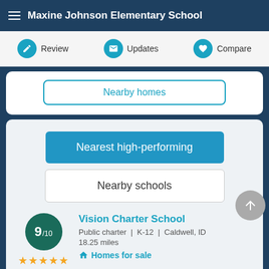Maxine Johnson Elementary School
Review | Updates | Compare
Nearby homes
Nearest high-performing
Nearby schools
Vision Charter School
Public charter | K-12 | Caldwell, ID
18.25 miles
Homes for sale